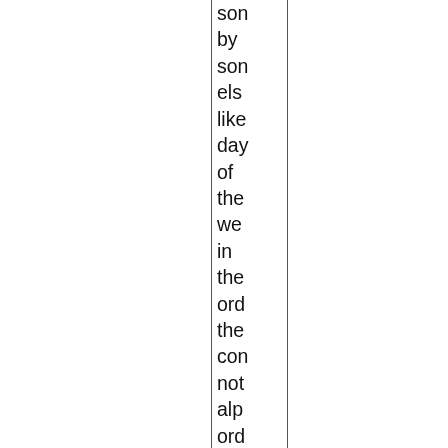son by son els like day of the we in the ord the con not alp ord tun in for the nex son